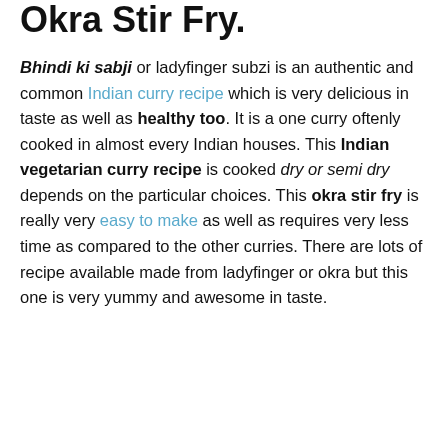Okra Stir Fry.
Bhindi ki sabji or ladyfinger subzi is an authentic and common Indian curry recipe which is very delicious in taste as well as healthy too. It is a one curry oftenly cooked in almost every Indian houses. This Indian vegetarian curry recipe is cooked dry or semi dry depends on the particular choices. This okra stir fry is really very easy to make as well as requires very less time as compared to the other curries. There are lots of recipe available made from ladyfinger or okra but this one is very yummy and awesome in taste.